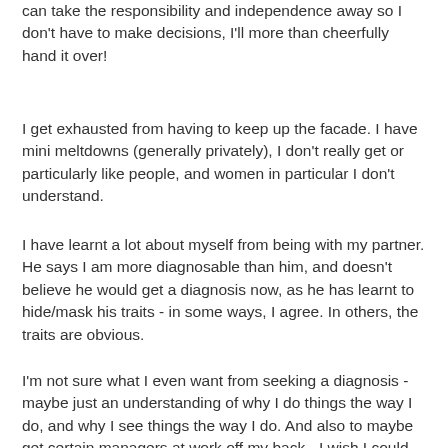can take the responsibility and independence away so I don't have to make decisions, I'll more than cheerfully hand it over!
I get exhausted from having to keep up the facade. I have mini meltdowns (generally privately), I don't really get or particularly like people, and women in particular I don't understand.
I have learnt a lot about myself from being with my partner. He says I am more diagnosable than him, and doesn't believe he would get a diagnosis now, as he has learnt to hide/mask his traits - in some ways, I agree. In others, the traits are obvious.
I'm not sure what I even want from seeking a diagnosis - maybe just an understanding of why I do things the way I do, and why I see things the way I do. And also to maybe get certain managers at work off my back - I wish I could turn round and say why I am the way I am, but don't think they'd take anything other than a formal diagnosis. I do feel bullied at work, and I don't know if its because of th way I am - my face doesn't really fit, which to be honest, absol...